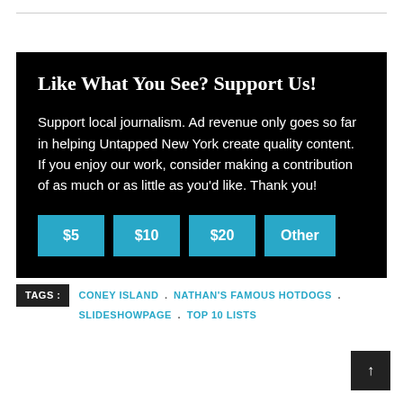Like What You See? Support Us!
Support local journalism. Ad revenue only goes so far in helping Untapped New York create quality content. If you enjoy our work, consider making a contribution of as much or as little as you'd like. Thank you!
[Figure (other): Four teal/cyan buttons labeled $5, $10, $20, Other for donation amounts]
TAGS: CONEY ISLAND . NATHAN'S FAMOUS HOTDOGS . SLIDESHOWPAGE . TOP 10 LISTS